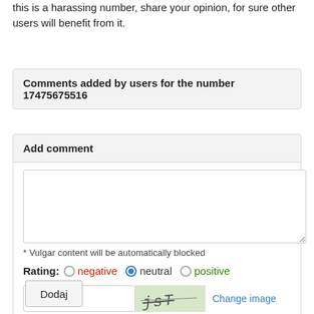this is a harassing number, share your opinion, for sure other users will benefit from it.
Comments added by users for the number 17475675516
Add comment
* Vulgar content will be automatically blocked
Rating: negative  neutral  positive
[Figure (screenshot): Captcha image showing distorted text 'jsT' on green background, with a text input labeled 'Captcha' and a 'Change image' link]
Dodaj